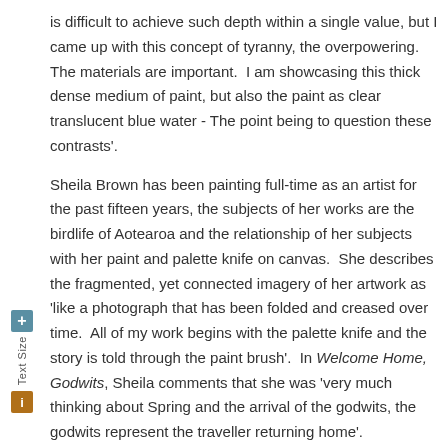is difficult to achieve such depth within a single value, but I came up with this concept of tyranny, the overpowering.  The materials are important.  I am showcasing this thick dense medium of paint, but also the paint as clear translucent blue water - The point being to question these contrasts'.
Sheila Brown has been painting full-time as an artist for the past fifteen years, the subjects of her works are the birdlife of Aotearoa and the relationship of her subjects with her paint and palette knife on canvas.  She describes the fragmented, yet connected imagery of her artwork as 'like a photograph that has been folded and creased over time.  All of my work begins with the palette knife and the story is told through the paint brush'.  In Welcome Home, Godwits, Sheila comments that she was 'very much thinking about Spring and the arrival of the godwits, the godwits represent the traveller returning home'.
DETAILS